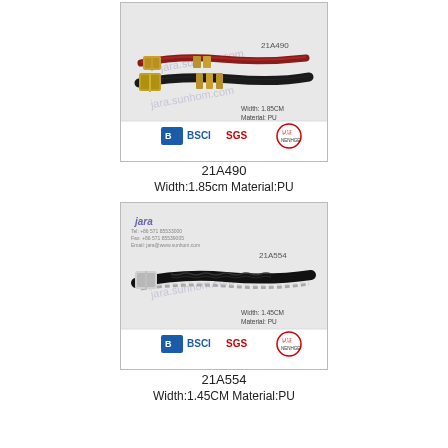[Figure (photo): Product photo of two belts (red and black) with BSCI SGS certification logos. Item 21A490.]
21A490
Width:1.85cm Material:PU
[Figure (photo): Product photo of black braided belt with chain detail, with BSCI SGS certification logos. Item 21A554.]
21A554
Width:1.45CM Material:PU